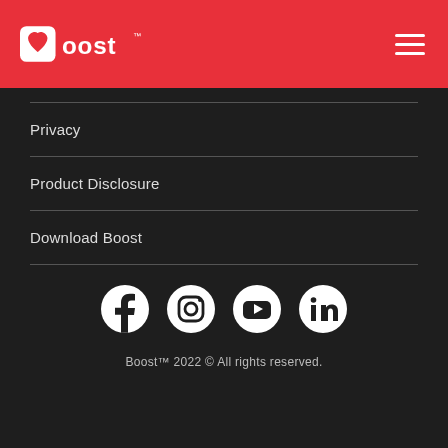[Figure (logo): Boost logo in white on red header background]
Privacy
Product Disclosure
Download Boost
[Figure (infographic): Social media icons row: Facebook, Instagram, YouTube, LinkedIn]
Boost™ 2022 © All rights reserved.